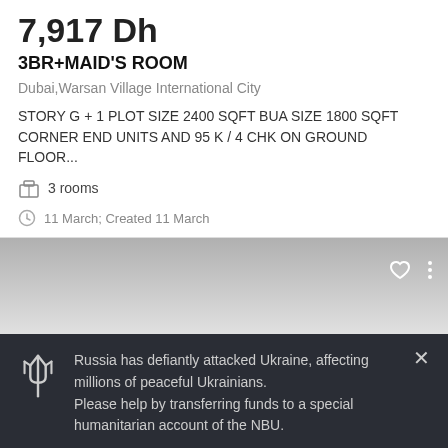7,917 Dh
3BR+MAID'S ROOM
Dubai,Warsan Village International City
STORY G + 1 PLOT SIZE 2400 SQFT BUA SIZE 1800 SQFT CORNER END UNITS AND 95 K / 4 CHK ON GROUND FLOOR...
3 rooms
11 March; Created 11 March
[Figure (screenshot): Gradient grey image placeholder with heart and menu icons in top right]
Russia has defiantly attacked Ukraine, affecting millions of peaceful Ukrainians.
Please help by transferring funds to a special humanitarian account of the NBU.
HELP NOW